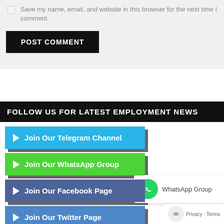Save my name, email, and website in this browser for the next time I comment.
POST COMMENT
FOLLOW US FOR LATEST EMPLOYMENT NEWS
▶ Join Our Telegram Channel
▶ Join Our WhatsApp Group
▶ Join Our Facebook Page
▶ Join Our Twitter Page
▶ Join Our Facebook Group
WhatsApp Group
Privacy · Terms